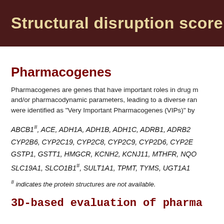Structural disruption score
Pharmacogenes
Pharmacogenes are genes that have important roles in drug metabolism and/or pharmacodynamic parameters, leading to a diverse range of... were identified as "Very Important Pharmacogenes (VIPs)" by ...
ABCB1#, ACE, ADH1A, ADH1B, ADH1C, ADRB1, ADRB2... CYP2B6, CYP2C19, CYP2C8, CYP2C9, CYP2D6, CYP2E... GSTP1, GSTT1, HMGCR, KCNH2, KCNJ11, MTHFR, NQO... SLC19A1, SLCO1B1#, SULT1A1, TPMT, TYMS, UGT1A1
# indicates the protein structures are not available.
3D-based evaluation of pharma